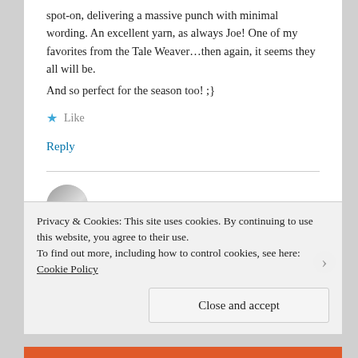spot-on, delivering a massive punch with minimal wording. An excellent yarn, as always Joe! One of my favorites from the Tale Weaver…then again, it seems they all will be.

And so perfect for the season too! ;}
Like
Reply
Joseph Pinto
Privacy & Cookies: This site uses cookies. By continuing to use this website, you agree to their use.
To find out more, including how to control cookies, see here: Cookie Policy
Close and accept